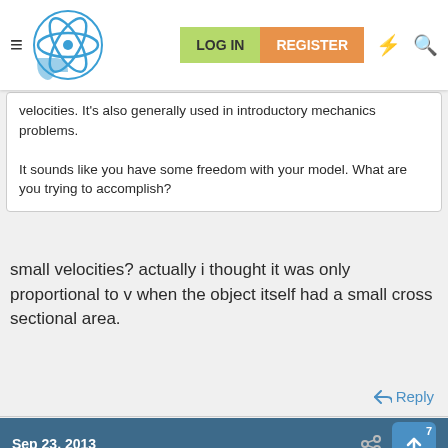LOG IN | REGISTER
velocities. It's also generally used in introductory mechanics problems.

It sounds like you have some freedom with your model. What are you trying to accomplish?
small velocities? actually i thought it was only proportional to v when the object itself had a small cross sectional area.
Reply
Sep 23, 2013
Chestermiller